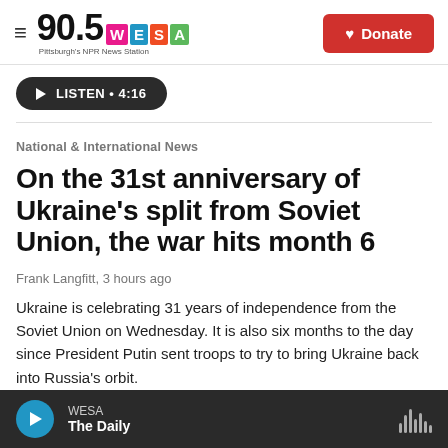90.5 WESA Pittsburgh's NPR News Station | Donate
[Figure (other): LISTEN play button with duration 4:16]
National & International News
On the 31st anniversary of Ukraine's split from Soviet Union, the war hits month 6
Frank Langfitt, 3 hours ago
Ukraine is celebrating 31 years of independence from the Soviet Union on Wednesday. It is also six months to the day since President Putin sent troops to try to bring Ukraine back into Russia's orbit.
WESA — The Daily (player bar)